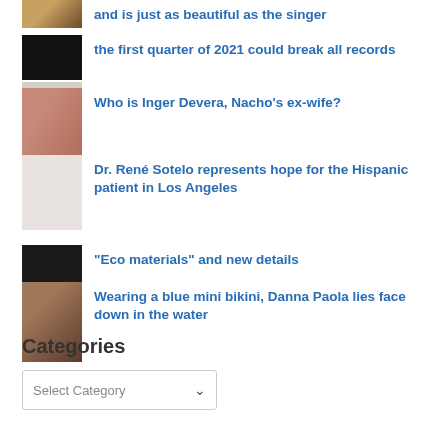and is just as beautiful as the singer
the first quarter of 2021 could break all records
Who is Inger Devera, Nacho's ex-wife?
Dr. René Sotelo represents hope for the Hispanic patient in Los Angeles
"Eco materials" and new details
Wearing a blue mini bikini, Danna Paola lies face down in the water
Categories